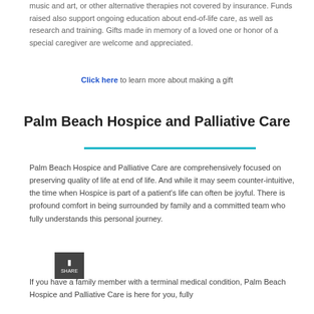music and art, or other alternative therapies not covered by insurance. Funds raised also support ongoing education about end-of-life care, as well as research and training. Gifts made in memory of a loved one or honor of a special caregiver are welcome and appreciated.
Click here to learn more about making a gift
Palm Beach Hospice and Palliative Care
Palm Beach Hospice and Palliative Care are comprehensively focused on preserving quality of life at end of life. And while it may seem counter-intuitive, the time when Hospice is part of a patient's life can often be joyful. There is profound comfort in being surrounded by family and a committed team who fully understands this personal journey.
If you have a family member with a terminal medical condition, Palm Beach Hospice and Palliative Care is here for you, fully